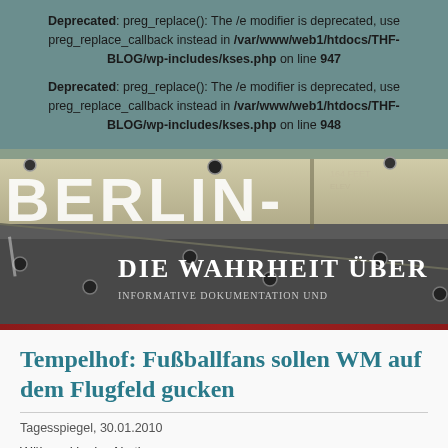Deprecated: preg_replace(): The /e modifier is deprecated, use preg_replace_callback instead in /var/www/web1/htdocs/THF-BLOG/wp-includes/kses.php on line 947
Deprecated: preg_replace(): The /e modifier is deprecated, use preg_replace_callback instead in /var/www/web1/htdocs/THF-BLOG/wp-includes/kses.php on line 948
[Figure (photo): Banner image of the THF-BLOG website showing the word BERLIN- in large white letters on a concrete/tarmac surface with rivets/bolts visible. Overlay text reads 'DIE WAHRHEIT ÜBER' and 'INFORMATIVE DOKUMENTATION UND']
Tempelhof: Fußballfans sollen WM auf dem Flugfeld gucken
Tagesspiegel, 30.01.2010
Während in der Abstimmung...